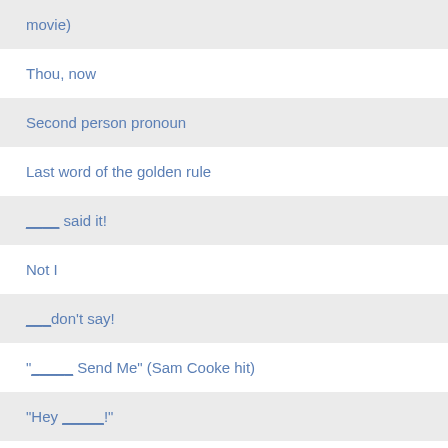movie)
Thou, now
Second person pronoun
Last word of the golden rule
____ said it!
Not I
___don't say!
"_____ Send Me" (Sam Cooke hit)
"Hey _____!"
1836 Tommy Dorney hit